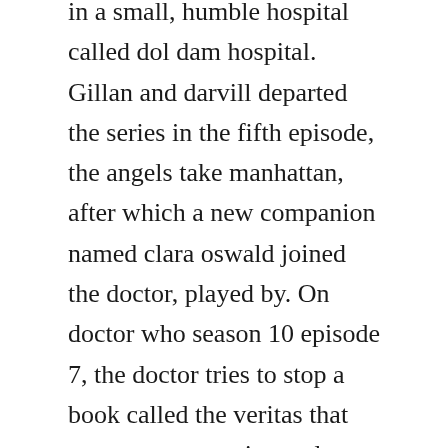in a small, humble hospital called dol dam hospital. Gillan and darvill departed the series in the fifth episode, the angels take manhattan, after which a new companion named clara oswald joined the doctor, played by. On doctor who season 10 episode 7, the doctor tries to stop a book called the veritas that appears to cause its readers to take their own lives. Watch doctor who season 7 episode 1 online asylum of the daleks.
Romantic doctor, teacher kim 2 episode 7 english sub at. A laurel, ms, native is ready to